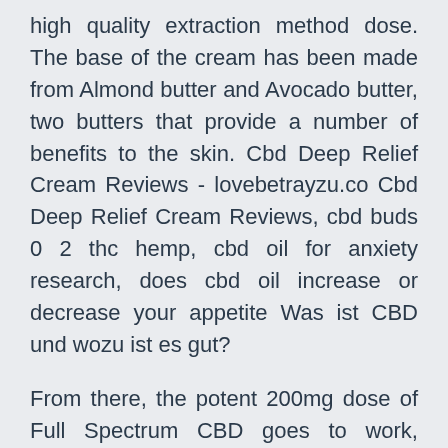high quality extraction method dose. The base of the cream has been made from Almond butter and Avocado butter, two butters that provide a number of benefits to the skin. Cbd Deep Relief Cream Reviews - lovebetrayzu.co Cbd Deep Relief Cream Reviews, cbd buds 0 2 thc hemp, cbd oil for anxiety research, does cbd oil increase or decrease your appetite Was ist CBD und wozu ist es gut?
From there, the potent 200mg dose of Full Spectrum CBD goes to work, reaching deep into your most needy areas to provide lasting relief to get you through Amazon.com: cbd products for pain relief Hemp Cream - 3000 Mg - Made in USA - Back, Neck, Knee Pain Relief - Natural Hemp Oil Cream - Anti Inflammatory - Fast Sore Muscle & Joint Relief - Arnica, MSM, EMU Oil & Glucosamine - Non-GMO Best CBD Creams for Pain